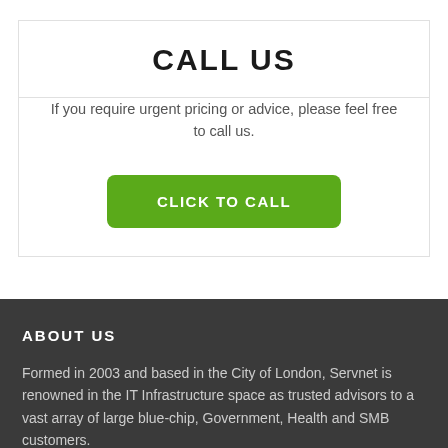CALL US
If you require urgent pricing or advice, please feel free to call us.
CLICK TO CALL
ABOUT US
Formed in 2003 and based in the City of London, Servnet is renowned in the IT Infrastructure space as trusted advisors to a vast array of large blue-chip, Government, Health and SMB customers.
We offer...